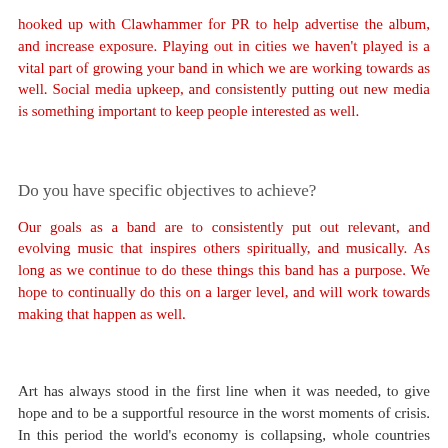hooked up with Clawhammer for PR to help advertise the album, and increase exposure. Playing out in cities we haven't played is a vital part of growing your band in which we are working towards as well. Social media upkeep, and consistently putting out new media is something important to keep people interested as well.
Do you have specific objectives to achieve?
Our goals as a band are to consistently put out relevant, and evolving music that inspires others spiritually, and musically. As long as we continue to do these things this band has a purpose. We hope to continually do this on a larger level, and will work towards making that happen as well.
Art has always stood in the first line when it was needed, to give hope and to be a supportful resource in the worst moments of crisis. In this period the world's economy is collapsing, whole countries are falling to their knees, and even here, in italy, things are not going for the best, even if